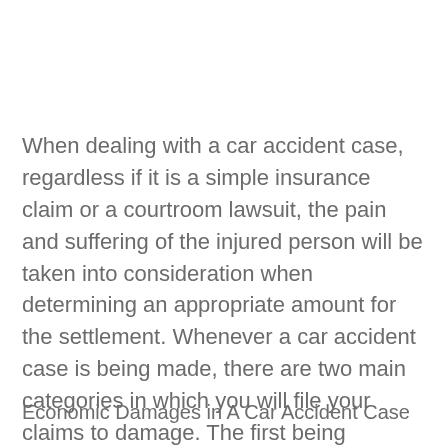When dealing with a car accident case, regardless if it is a simple insurance claim or a courtroom lawsuit, the pain and suffering of the injured person will be taken into consideration when determining an appropriate amount for the settlement. Whenever a car accident case is being made, there are two main categories in which you will file your claims to damage. The first being economic damages and the second being, non-economic damages.
Economic Damages in A Car Accident Case